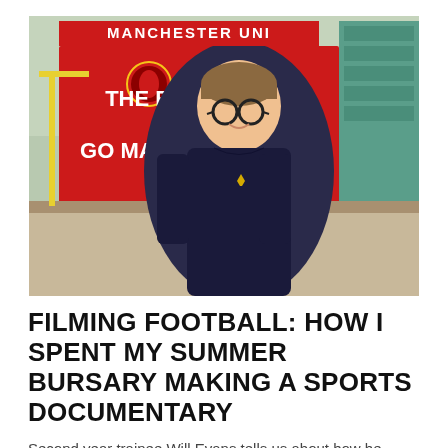[Figure (photo): A young man with glasses and short brown hair, wearing a dark navy blue sweatshirt with a small yellow logo, smiling in front of Manchester United's Old Trafford stadium. A large red billboard reads 'THE REDS ON! ON! GO MARCHING ON!' with the Manchester United crest visible.]
FILMING FOOTBALL: HOW I SPENT MY SUMMER BURSARY MAKING A SPORTS DOCUMENTARY
Second year trainee Will Evans tells us about how he spent his summer bursary